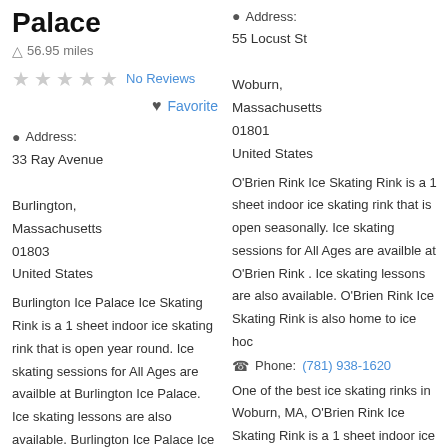Palace
56.95 miles
No Reviews
Favorite
Address:
33 Ray Avenue
Burlington,
Massachusetts
01803
United States
Burlington Ice Palace Ice Skating Rink is a 1 sheet indoor ice skating rink that is open year round. Ice skating sessions for All Ages are availble at Burlington Ice Palace. Ice skating lessons are also available. Burlington Ice Palace Ice Skating
Address:
55 Locust St
Woburn,
Massachusetts
01801
United States
O'Brien Rink Ice Skating Rink is a 1 sheet indoor ice skating rink that is open seasonally. Ice skating sessions for All Ages are availble at O'Brien Rink . Ice skating lessons are also available. O'Brien Rink Ice Skating Rink is also home to ice hoc
Phone: (781) 938-1620
One of the best ice skating rinks in Woburn, MA, O'Brien Rink Ice Skating Rink is a 1 sheet indoor ice skating rink is open seasonally. It was founded in 1993 Public Skating